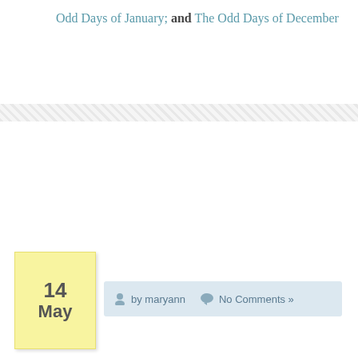Odd Days of January; and The Odd Days of December
14 May
by maryann
No Comments »
An Eclectic Bookshelf…